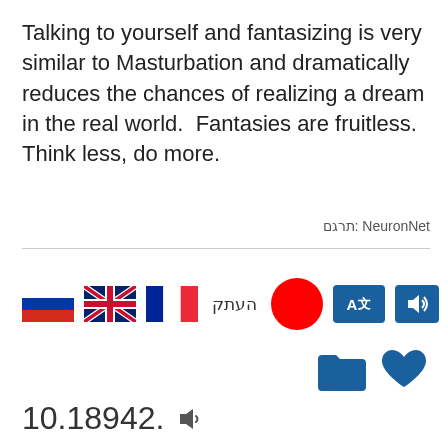Talking to yourself and fantasizing is very similar to Masturbation and dramatically reduces the chances of realizing a dream in the real world.  Fantasies are fruitless.  Think less, do more.
תרגם: NeuronNet
[Figure (infographic): Row of interactive icons: Russian flag, UK flag, French flag, Hebrew text 'העתק', red circle (Japanese flag style), translate button with A文, audio/sound icon, folder icon, heart icon]
10.18942.